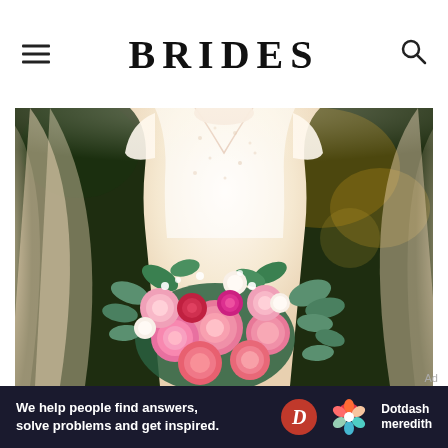BRIDES
[Figure (photo): Close-up photograph of a bride in a white lace wedding dress with cap sleeves holding a large bouquet of pink roses, red flowers, white blooms, and green eucalyptus leaves. The bride is shown from the neck down with a veil visible.]
Ad
[Figure (other): Dotdash Meredith advertisement banner with dark navy background. Text reads: We help people find answers, solve problems and get inspired. Logo includes a red circle with D and a colorful hexagon flower shape next to the Dotdash meredith wordmark.]